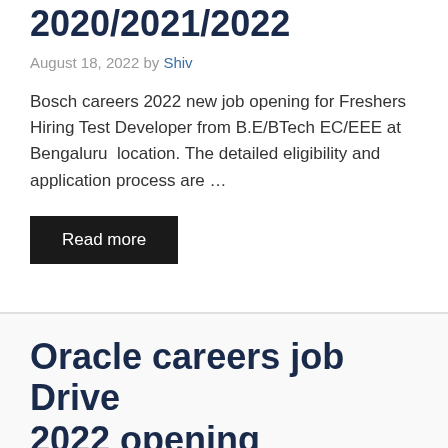2020/2021/2022
August 18, 2022 by Shiv
Bosch careers 2022 new job opening for Freshers Hiring Test Developer from B.E/BTech EC/EEE at Bengaluru location. The detailed eligibility and application process are …
Read more
Oracle careers job Drive 2022 opening Opportunity